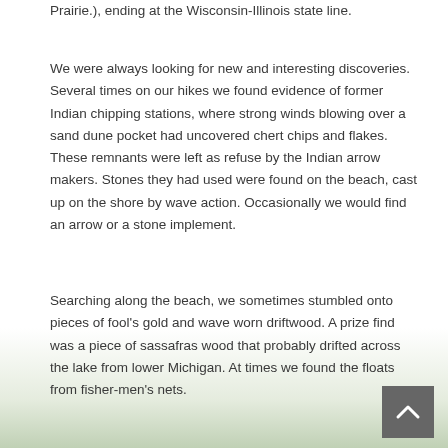Prairie.), ending at the Wisconsin-Illinois state line.
We were always looking for new and interesting discoveries. Several times on our hikes we found evidence of former Indian chipping stations, where strong winds blowing over a sand dune pocket had uncovered chert chips and flakes. These remnants were left as refuse by the Indian arrow makers. Stones they had used were found on the beach, cast up on the shore by wave action. Occasionally we would find an arrow or a stone implement.
Searching along the beach, we sometimes stumbled onto pieces of fool's gold and wave worn driftwood. A prize find was a piece of sassafras wood that probably drifted across the lake from lower Michigan. At times we found the floats from fisher-men's nets.